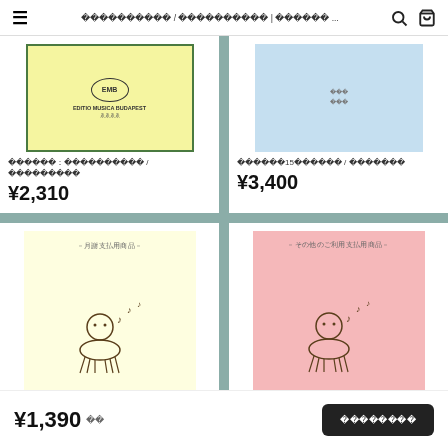≡  ？？？？？？？？？？ / ？？？？？？？？？？ | ？？？？？？ ...  🔍  🛒
[Figure (illustration): Yellow book cover with green border, EMB logo (Editio Musica Budapest)]
？？？？？？：？？？？？？？？？？ / ？？？？？？？？？
¥2,310
[Figure (illustration): Light blue plain cover with small text]
？？？？？？15？？？？？？ / ？？？？？？？
¥3,400
[Figure (illustration): Light yellow card with Japanese text '月謝支払用商品' and cartoon figure with musical notes, くっさいず音楽院]
[Figure (illustration): Pink card with Japanese text 'その他のご利用支払用商品' and cartoon figure with musical notes, くっさいず音楽院]
¥1,390
？？？？？？？？